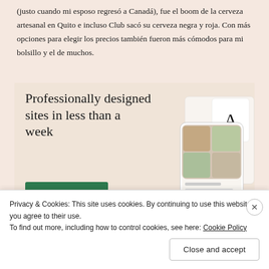(justo cuando mi esposo regresó a Canadá), fue el boom de la cerveza artesanal en Quito e incluso Club sacó su cerveza negra y roja. Con más opciones para elegir los precios también fueron más cómodos para mi bolsillo y el de muchos.
[Figure (other): WordPress advertisement banner: 'Professionally designed sites in less than a week' with an 'Explore options' button and a mockup of website designs on the right side.]
Privacy & Cookies: This site uses cookies. By continuing to use this website, you agree to their use. To find out more, including how to control cookies, see here: Cookie Policy
Close and accept